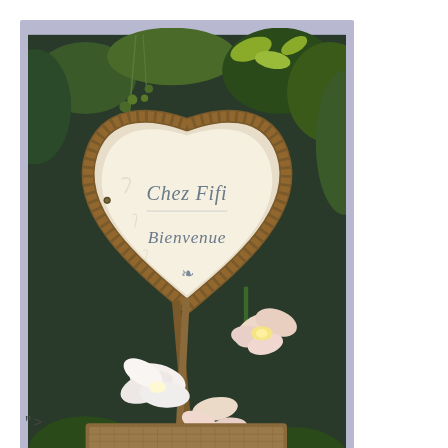[Figure (photo): A decorative heart-shaped sign with distressed edges reading 'Chez Fifi' and 'Bienvenue' with an ornamental flourish below, surrounded by green leaves, vines, and soft pink/white flower petals. The photo has a soft lavender/blue border frame.]
BEAUTIFUL BOOK!
">